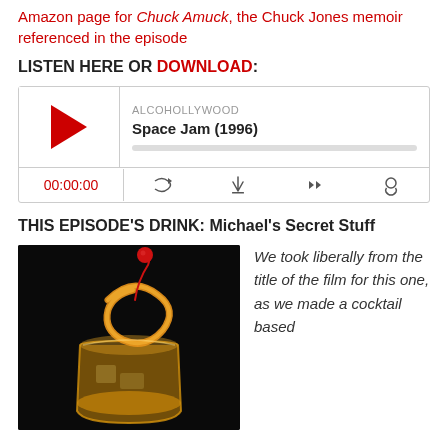Amazon page for Chuck Amuck, the Chuck Jones memoir referenced in the episode
LISTEN HERE OR DOWNLOAD:
[Figure (screenshot): Embedded podcast player showing ALCOHOLLYWOOD episode 'Space Jam (1996)' with play button, progress bar, time 00:00:00, and control icons]
THIS EPISODE'S DRINK: Michael's Secret Stuff
[Figure (photo): Photo of a cocktail in a rocks glass with a maraschino cherry and orange peel garnish against a dark background]
We took liberally from the title of the film for this one, as we made a cocktail based